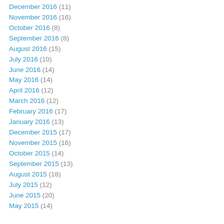December 2016 (11)
November 2016 (16)
October 2016 (8)
September 2016 (8)
August 2016 (15)
July 2016 (10)
June 2016 (14)
May 2016 (14)
April 2016 (12)
March 2016 (12)
February 2016 (17)
January 2016 (13)
December 2015 (17)
November 2015 (16)
October 2015 (14)
September 2015 (13)
August 2015 (18)
July 2015 (12)
June 2015 (20)
May 2015 (14)